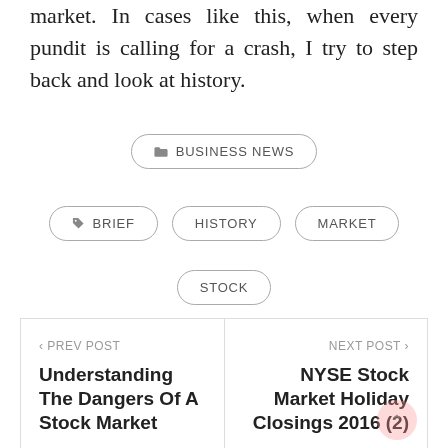market. In cases like this, when every pundit is calling for a crash, I try to step back and look at history.
BUSINESS NEWS
BRIEF
HISTORY
MARKET
STOCK
< PREV POST
Understanding The Dangers Of A Stock Market
NEXT POST >
NYSE Stock Market Holiday Closings 2016 (2)